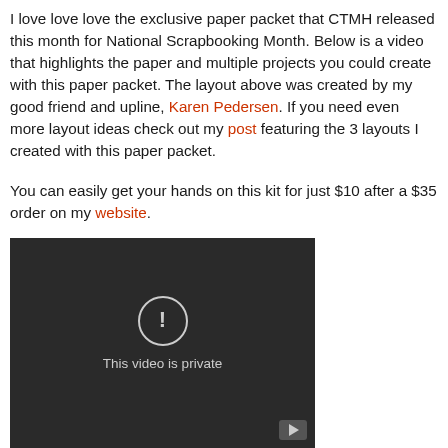I love love love the exclusive paper packet that CTMH released this month for National Scrapbooking Month. Below is a video that highlights the paper and multiple projects you could create with this paper packet. The layout above was created by my good friend and upline, Karen Pedersen. If you need even more layout ideas check out my post featuring the 3 layouts I created with this paper packet.

You can easily get your hands on this kit for just $10 after a $35 order on my website.
[Figure (screenshot): Embedded YouTube video player showing 'This video is private' message with a circular exclamation icon on a dark background.]